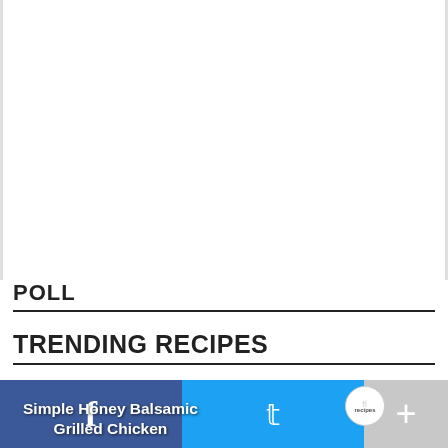POLL
TRENDING RECIPES
[Figure (photo): Thumbnail image of Simple Honey Balsamic Grilled Chicken recipe with white text overlay and red/white checkered pattern in background]
[Figure (infographic): Social sharing bar with Facebook (blue), Twitter (cyan), and More (gray) buttons at the bottom of the page]